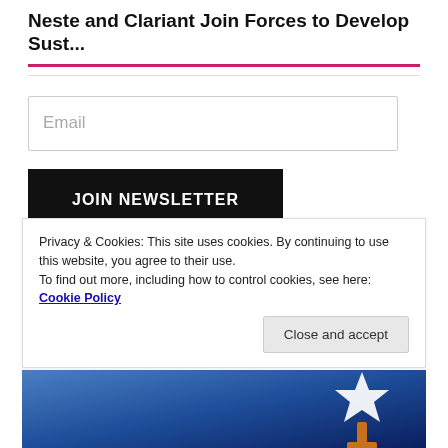Neste and Clariant Join Forces to Develop Sust...
Email
JOIN NEWSLETTER
Privacy & Cookies: This site uses cookies. By continuing to use this website, you agree to their use.
To find out more, including how to control cookies, see here: Cookie Policy
Close and accept
[Figure (photo): Partial photo showing a star-shaped award trophy against a blue gradient background]